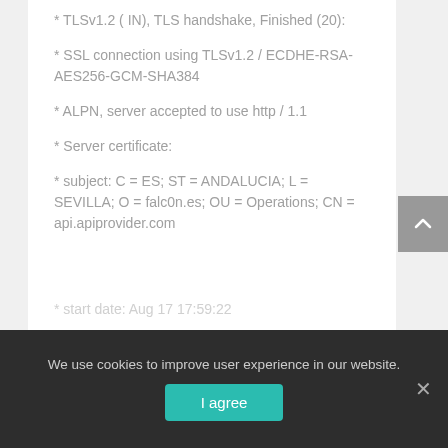* TLSv1.2 ( IN), TLS handshake, Finished (20):
* SSL connection using TLSv1.2 / ECDHE-RSA-AES256-GCM-SHA384
* ALPN, server accepted to use http / 1.1
* Server certificate:
* subject: C = ES; ST = ANDALUCIA; L = SEVILLA; O = falc0n.es; OU = Operations; CN = api.apiprovider.com
* start date: Aug 17 17:59:22
We use cookies to improve user experience in our website.
I agree